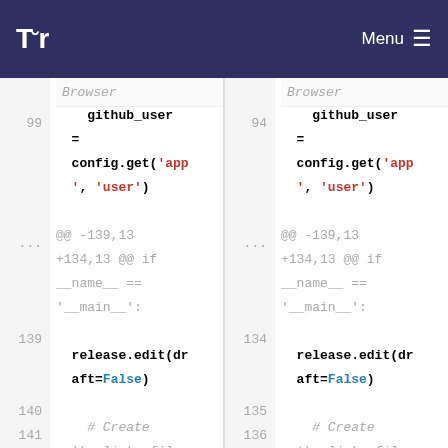Tor Browser — Menu
[Figure (screenshot): Git diff view showing two panes of code changes. Left pane shows lines 99, ..., 139-142 and right pane shows lines 94, ..., 134-137. Content includes github_user = config.get('app', 'user'), diff hunk header, release.edit(draft=False), # Create the links file for this release, and core = gettor.core.Core(...) with removed/added highlighting.]